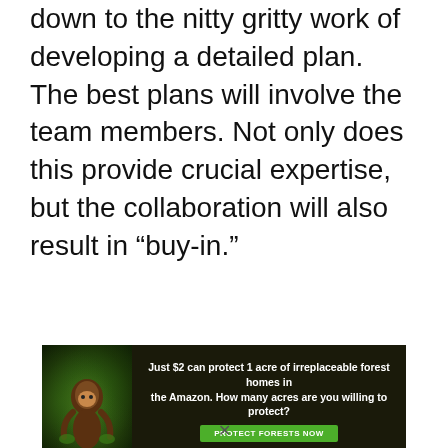down to the nitty gritty work of developing a detailed plan. The best plans will involve the team members. Not only does this provide crucial expertise, but the collaboration will also result in “buy-in.”
[Figure (infographic): Advertisement banner with dark forest background and animal image on left. Text reads: 'Just $2 can protect 1 acre of irreplaceable forest homes in the Amazon. How many acres are you willing to protect?' with a green 'PROTECT FORESTS NOW' button.]
x